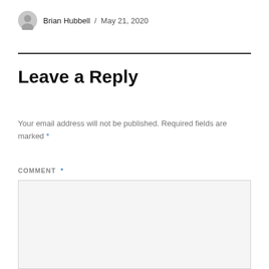Brian Hubbell / May 21, 2020
Leave a Reply
Your email address will not be published. Required fields are marked *
COMMENT *